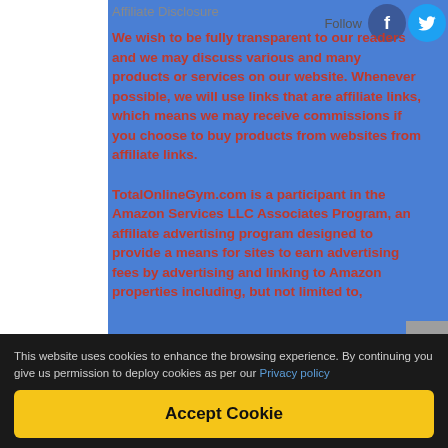Affiliate Disclosure
We wish to be fully transparent to our readers and we may discuss various and many products or services on our website. Whenever possible, we will use links that are affiliate links, which means we may receive commissions if you choose to buy products from websites from affiliate links.

TotalOnlineGym.com is a participant in the Amazon Services LLC Associates Program, an affiliate advertising program designed to provide a means for sites to earn advertising fees by advertising and linking to Amazon properties including, but not limited to,
This website uses cookies to enhance the browsing experience. By continuing you give us permission to deploy cookies as per our Privacy policy
Accept Cookie